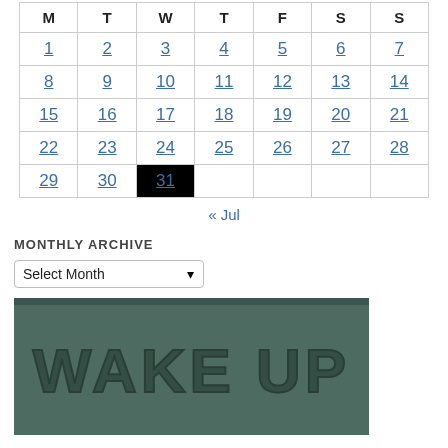| M | T | W | T | F | S | S |
| --- | --- | --- | --- | --- | --- | --- |
| 1 | 2 | 3 | 4 | 5 | 6 | 7 |
| 8 | 9 | 10 | 11 | 12 | 13 | 14 |
| 15 | 16 | 17 | 18 | 19 | 20 | 21 |
| 22 | 23 | 24 | 25 | 26 | 27 | 28 |
| 29 | 30 | 31 |  |  |  |  |
« Jul
MONTHLY ARCHIVE
Select Month
[Figure (illustration): WAKE UP text graphic on dark green/teal background]